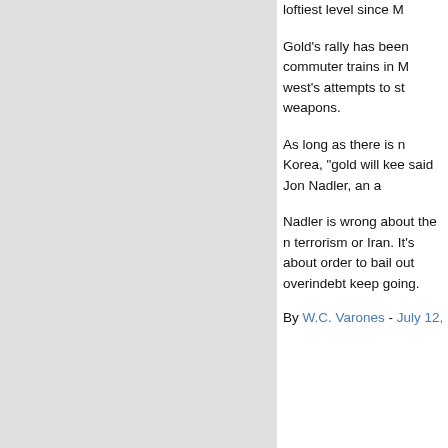loftiest level since M
Gold's rally has been commuter trains in M west's attempts to st weapons.
As long as there is n Korea, "gold will kee said Jon Nadler, an a
Nadler is wrong about the n terrorism or Iran. It's about order to bail out overindebt keep going.
By W.C. Varones - July 12,
7.10.2006
When I was a k